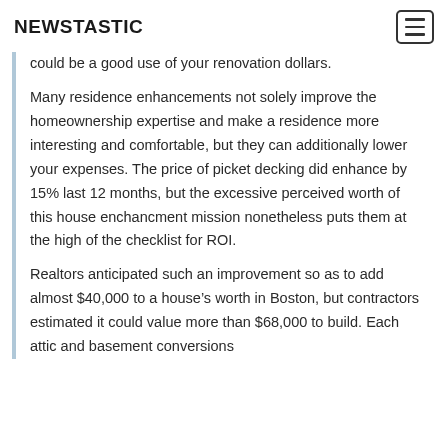NEWSTASTIC
could be a good use of your renovation dollars.
Many residence enhancements not solely improve the homeownership expertise and make a residence more interesting and comfortable, but they can additionally lower your expenses. The price of picket decking did enhance by 15% last 12 months, but the excessive perceived worth of this house enchancment mission nonetheless puts them at the high of the checklist for ROI.
Realtors anticipated such an improvement so as to add almost $40,000 to a house’s worth in Boston, but contractors estimated it could value more than $68,000 to build. Each attic and basement conversions